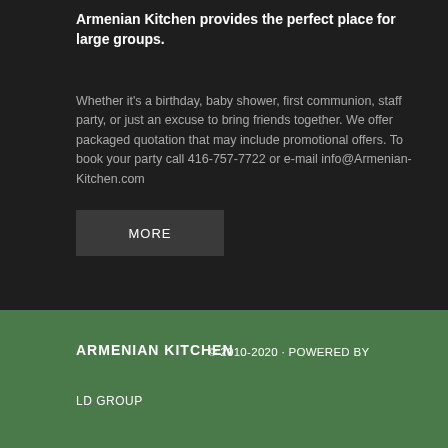Armenian Kitchen provides the perfect place for large groups.
Whether it's a birthday, baby shower, first communion, staff party, or just an excuse to bring friends together. We offer packaged quotation that may include promotional offers. To book your party call 416-757-7722 or e-mail info@Armenian-Kitchen.com
MORE
ARMENIAN KITCHEN © 2010-2020 · POWERED BY LD GROUP